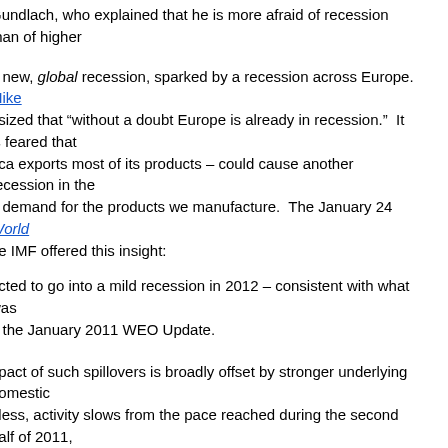Gundlach, who explained that he is more afraid of recession than of higher
a new, global recession, sparked by a recession across Europe.  Mike asized that "without a doubt Europe is already in recession."  It is feared that rica exports most of its products – could cause another recession in the d demand for the products we manufacture.  The January 24 World he IMF offered this insight:
ected to go into a mild recession in 2012 – consistent with what was n the January 2011 WEO Update.
npact of such spillovers is broadly offset by stronger underlying domestic eless, activity slows from the pace reached during the second half of 2011, ncial conditions and fiscal policy turns more contractionary.
es suggested that the Great Recession, which began in the fourth quarter of phasized that the continuing drag of the housing market, the lack of liquidity espite trillions of dollars in cash on the sidelines, has resulted in an "invisible
nal explained how this situation has played out at law firms:
ed since 2009, when the legal industry shed 41,900 positions, according to